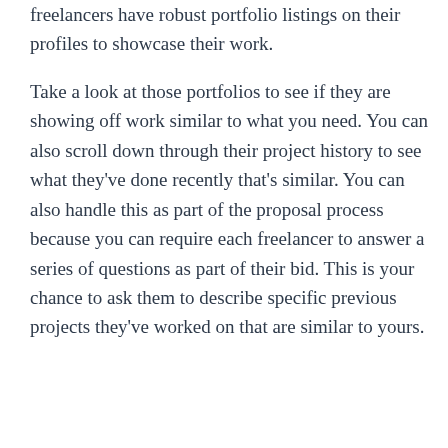freelancers have robust portfolio listings on their profiles to showcase their work.
Take a look at those portfolios to see if they are showing off work similar to what you need. You can also scroll down through their project history to see what they've done recently that's similar. You can also handle this as part of the proposal process because you can require each freelancer to answer a series of questions as part of their bid. This is your chance to ask them to describe specific previous projects they've worked on that are similar to yours.